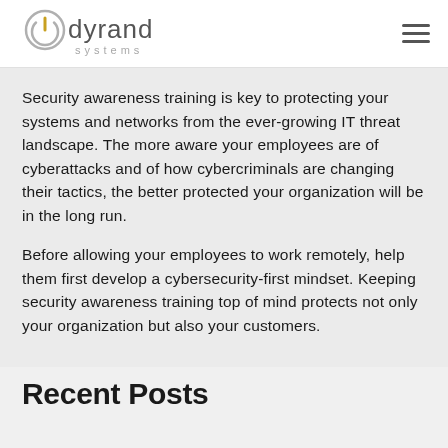dyrand systems
Security awareness training is key to protecting your systems and networks from the ever-growing IT threat landscape. The more aware your employees are of cyberattacks and of how cybercriminals are changing their tactics, the better protected your organization will be in the long run.
Before allowing your employees to work remotely, help them first develop a cybersecurity-first mindset. Keeping security awareness training top of mind protects not only your organization but also your customers.
Recent Posts